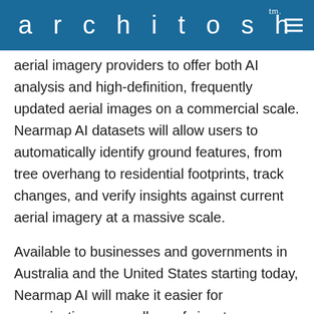architosh™
aerial imagery providers to offer both AI analysis and high-definition, frequently updated aerial images on a commercial scale. Nearmap AI datasets will allow users to automatically identify ground features, from tree overhang to residential footprints, track changes, and verify insights against current aerial imagery at a massive scale.
Available to businesses and governments in Australia and the United States starting today, Nearmap AI will make it easier for organizations, regardless of size, to access and use AI-driven location intelligence to plan, manage and run their operations. For example, local governments will be